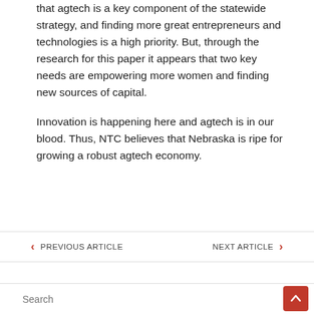that agtech is a key component of the statewide strategy, and finding more great entrepreneurs and technologies is a high priority.  But, through the research for this paper it appears that two key needs are empowering more women and finding new sources of capital.
Innovation is happening here and agtech is in our blood.  Thus, NTC believes that Nebraska is ripe for growing a robust agtech economy.
PREVIOUS ARTICLE    NEXT ARTICLE
Search